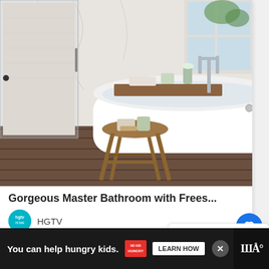[Figure (photo): Gorgeous master bathroom with a white freestanding soaking tub, wooden stool with bath products, marble tile, glass shower door, and hardwood floors]
Gorgeous Master Bathroom with Frees...
HGTV
[Figure (photo): What's Next panel showing 37+ Purple Bathroom... thumbnail]
You can help hungry kids. NO KID HUNGRY LEARN HOW